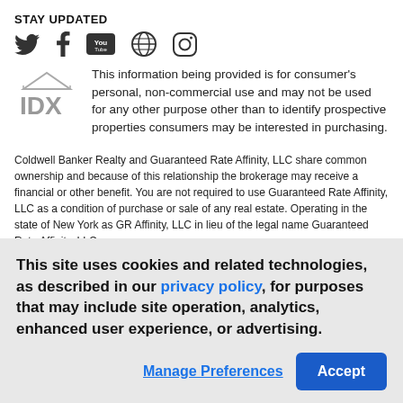STAY UPDATED
[Figure (illustration): Social media icons: Twitter, Facebook, YouTube, Globe/Web, Instagram]
[Figure (logo): IDX logo - stylized letters IDX with roof/house shape above]
This information being provided is for consumer's personal, non-commercial use and may not be used for any other purpose other than to identify prospective properties consumers may be interested in purchasing.
Coldwell Banker Realty and Guaranteed Rate Affinity, LLC share common ownership and because of this relationship the brokerage may receive a financial or other benefit. You are not required to use Guaranteed Rate Affinity, LLC as a condition of purchase or sale of any real estate. Operating in the state of New York as GR Affinity, LLC in lieu of the legal name Guaranteed Rate Affinity, LLC.
This site uses cookies and related technologies, as described in our privacy policy, for purposes that may include site operation, analytics, enhanced user experience, or advertising.